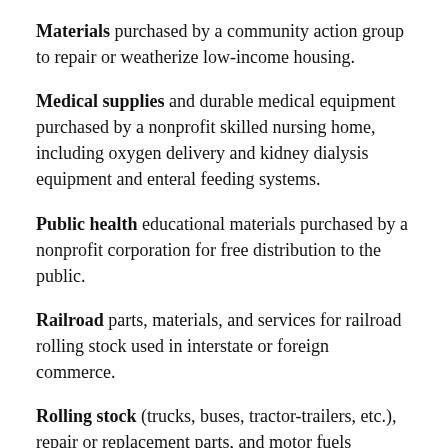Materials purchased by a community action group to repair or weatherize low-income housing.
Medical supplies and durable medical equipment purchased by a nonprofit skilled nursing home, including oxygen delivery and kidney dialysis equipment and enteral feeding systems.
Public health educational materials purchased by a nonprofit corporation for free distribution to the public.
Railroad parts, materials, and services for railroad rolling stock used in interstate or foreign commerce.
Rolling stock (trucks, buses, tractor-trailers, etc.), repair or replacement parts, and motor fuels purchased by ICC carriers.
Warehouse machinery & equipment, racking systems.
An exemption certificate must be completed for these sales to be